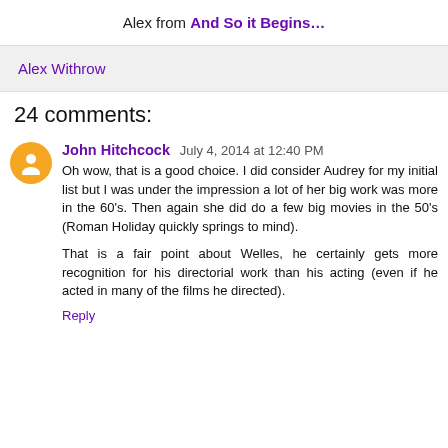Alex from And So it Begins…
Alex Withrow
24 comments:
John Hitchcock  July 4, 2014 at 12:40 PM
Oh wow, that is a good choice. I did consider Audrey for my initial list but I was under the impression a lot of her big work was more in the 60's. Then again she did do a few big movies in the 50's (Roman Holiday quickly springs to mind).

That is a fair point about Welles, he certainly gets more recognition for his directorial work than his acting (even if he acted in many of the films he directed).

Reply